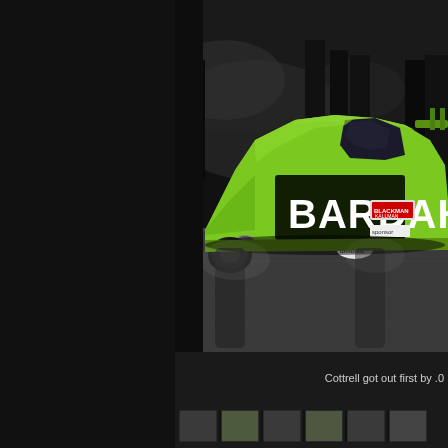[Figure (photo): A bright green Bardahl-sponsored funny car drag racing vehicle on track, with smoke and pit crew visible in the background. The car body is lime green with BARDAHL written in large black block letters on the side.]
Cottrell got out first by .0
[Figure (photo): Thumbnail strip of small racing photos at the bottom of the page.]